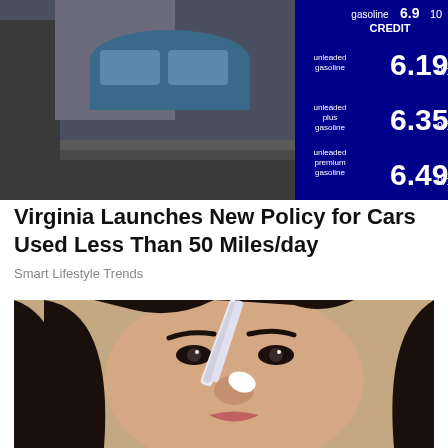[Figure (photo): Gas station price sign showing unleaded gasoline 6.19, unleaded plus gasoline 6.35, unleaded premium gasoline 6.49, CREDIT, with a car and gas station in background]
Virginia Launches New Policy for Cars Used Less Than 50 Miles/day
Smart Lifestyle Trends
[Figure (photo): Close-up photo of a woman with dark hair applying something to her nose with a brush or applicator]